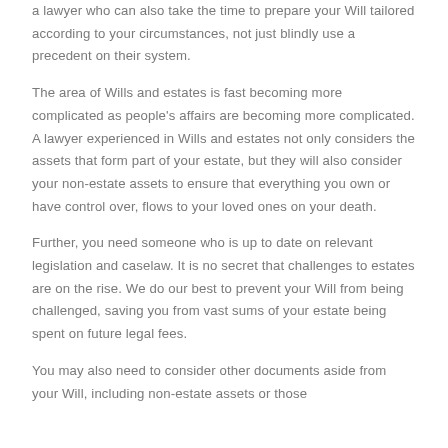a lawyer who can also take the time to prepare your Will tailored according to your circumstances, not just blindly use a precedent on their system.
The area of Wills and estates is fast becoming more complicated as people's affairs are becoming more complicated. A lawyer experienced in Wills and estates not only considers the assets that form part of your estate, but they will also consider your non-estate assets to ensure that everything you own or have control over, flows to your loved ones on your death.
Further, you need someone who is up to date on relevant legislation and caselaw. It is no secret that challenges to estates are on the rise. We do our best to prevent your Will from being challenged, saving you from vast sums of your estate being spent on future legal fees.
You may also need to consider other documents aside from your Will, including non-estate assets or those